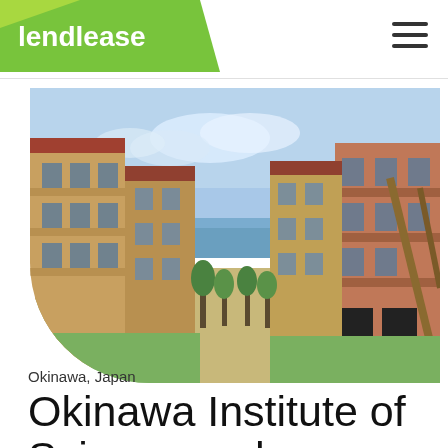[Figure (logo): Lendlease logo on green parallelogram/chevron shape, white text reading 'lendlease']
[Figure (photo): Photograph of residential apartment buildings at Okinawa Institute of Science and Technology campus in Japan, showing multi-story yellow and terracotta-colored buildings flanking a central pathway leading toward the ocean, with green lawn, trees, and blue sky.]
Okinawa, Japan
Okinawa Institute of Science and